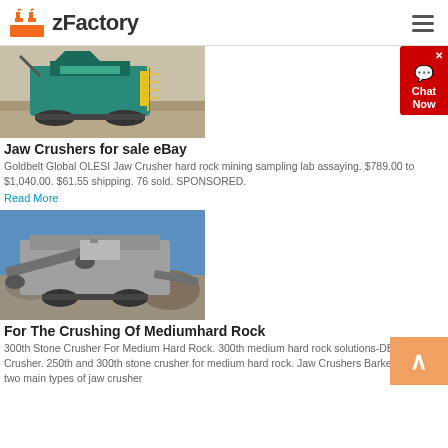zFactory
[Figure (photo): Mining jaw crusher machine on site, teal/green colored industrial crusher on gravel ground]
Jaw Crushers for sale eBay
Goldbelt Global OLESI Jaw Crusher hard rock mining sampling lab assaying. $789.00 to $1,040.00. $61.55 shipping. 76 sold. SPONSORED.
Read More
[Figure (photo): Mobile stone crusher machine outdoors, grey/white industrial crushing plant against blue sky and rocky terrain]
For The Crushing Of Mediumhard Rock
300th Stone Crusher For Medium Hard Rock. 300th medium hard rock solutions-DBM Crusher. 250th and 300th stone crusher for medium hard rock. Jaw Crushers Barker Plant The two main types of jaw crusher